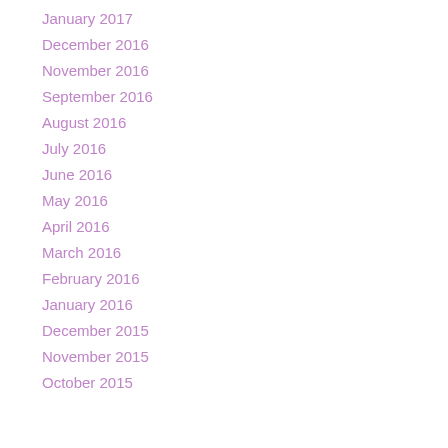January 2017
December 2016
November 2016
September 2016
August 2016
July 2016
June 2016
May 2016
April 2016
March 2016
February 2016
January 2016
December 2015
November 2015
October 2015